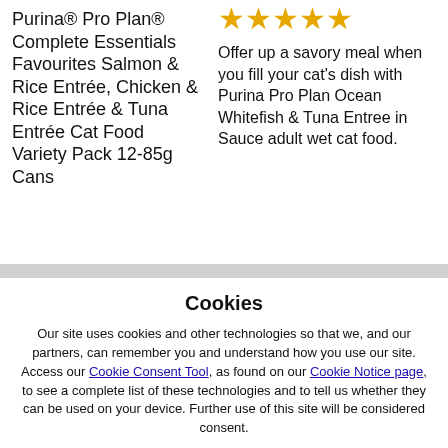Purina® Pro Plan® Complete Essentials Favourites Salmon & Rice Entrée, Chicken & Rice Entrée & Tuna Entrée Cat Food Variety Pack 12-85g Cans
[Figure (other): 5 gold/orange star rating icons]
Offer up a savory meal when you fill your cat's dish with Purina Pro Plan Ocean Whitefish & Tuna Entree in Sauce adult wet cat food.
Cookies
Our site uses cookies and other technologies so that we, and our partners, can remember you and understand how you use our site. Access our Cookie Consent Tool, as found on our Cookie Notice page, to see a complete list of these technologies and to tell us whether they can be used on your device. Further use of this site will be considered consent.